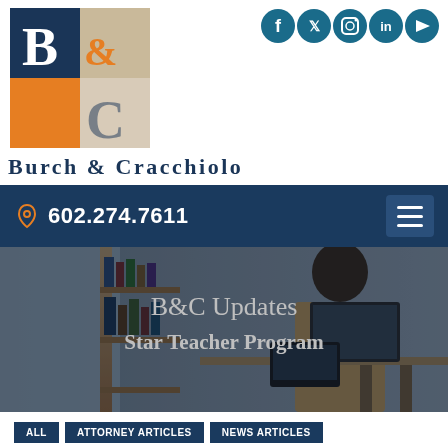[Figure (logo): Burch & Cracchiolo law firm logo with B&C stylized letters in navy, orange, and beige squares]
[Figure (infographic): Social media icons: Facebook, Twitter, Instagram, LinkedIn, YouTube in teal circles]
Burch & Cracchiolo
602.274.7611
[Figure (photo): Man in beige suit working at a standing desk with multiple monitors in a modern office with bookshelf and city view]
B&C Updates Star Teacher Program
ALL   ATTORNEY ARTICLES   NEWS ARTICLES